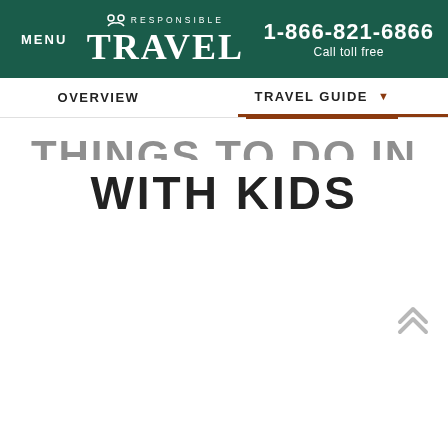MENU | Responsible Travel | 1-866-821-6866 Call toll free
OVERVIEW | TRAVEL GUIDE
THINGS TO DO IN IRELAND WITH KIDS
RECENTLY VIEWED